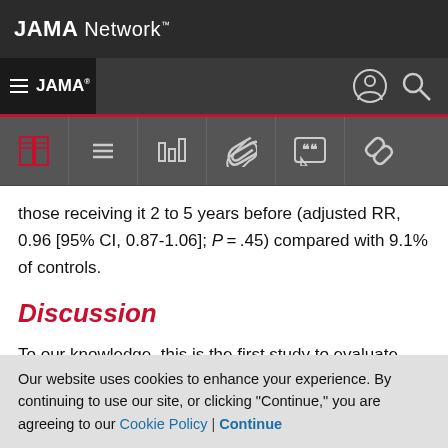JAMA Network
JAMA
those receiving it 2 to 5 years before (adjusted RR, 0.96 [95% CI, 0.87-1.06]; P = .45) compared with 9.1% of controls.
Discussion
To our knowledge, this is the first study to evaluate medically attended acute adverse outcomes in mothers following Tdap vaccine in pregnancy looking specifically
Our website uses cookies to enhance your experience. By continuing to use our site, or clicking "Continue," you are agreeing to our Cookie Policy | Continue